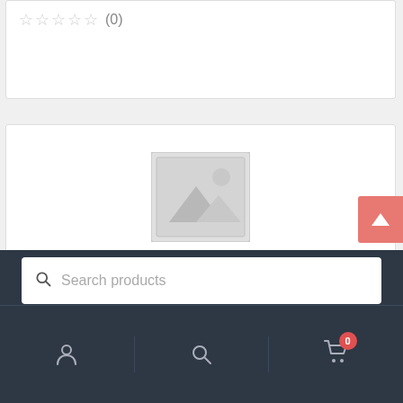☆☆☆☆☆ (0)
[Figure (illustration): Placeholder product image with mountain/landscape icon in gray]
Integrated Circuits, Voltage Regulators
LM2940CT-5.0/NOPB | VOLTAGE REGULATOR LDO 1A 5V TO-220
SKU: LM2940CT-5.0/NOPB
Availability: 5 in stock
Search products